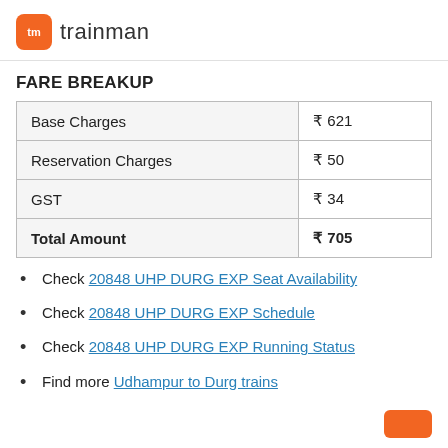tm trainman
FARE BREAKUP
|  |  |
| --- | --- |
| Base Charges | ₹ 621 |
| Reservation Charges | ₹ 50 |
| GST | ₹ 34 |
| Total Amount | ₹ 705 |
Check 20848 UHP DURG EXP Seat Availability
Check 20848 UHP DURG EXP Schedule
Check 20848 UHP DURG EXP Running Status
Find more Udhampur to Durg trains